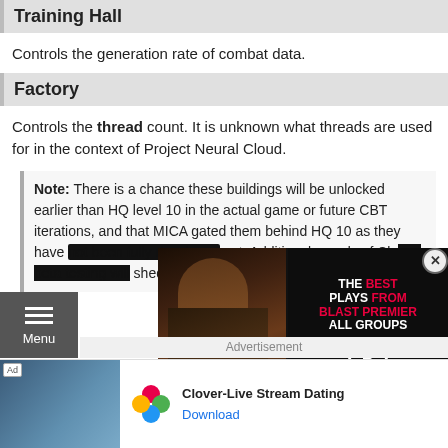Training Hall
Controls the generation rate of combat data.
Factory
Controls the thread count. It is unknown what threads are used for in the context of Project Neural Cloud.
Note: There is a chance these buildings will be unlocked earlier than HQ level 10 in the actual game or future CBT iterations, and that MICA gated them behind HQ 10 as they have not been fully developed yet. Additional rounds of Clo... shed more light on the matt...
[Figure (screenshot): Video overlay showing 'THE BEST PLAYS FROM BLAST PREMIER ALL GROUPS' with a person and play button]
[Figure (screenshot): Menu button (hamburger icon) on left side]
Advertisement
[Figure (screenshot): Ad banner for Clover-Live Stream Dating app with Download link]